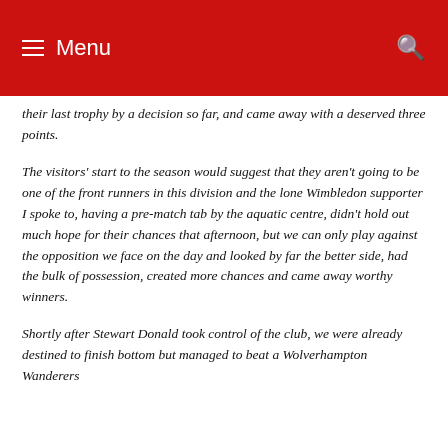Menu
their last trophy by a decision so far, and came away with a deserved three points.
The visitors' start to the season would suggest that they aren't going to be one of the front runners in this division and the lone Wimbledon supporter I spoke to, having a pre-match tab by the aquatic centre, didn't hold out much hope for their chances that afternoon, but we can only play against the opposition we face on the day and looked by far the better side, had the bulk of possession, created more chances and came away worthy winners.
Shortly after Stewart Donald took control of the club, we were already destined to finish bottom but managed to beat a Wolverhampton Wanderers